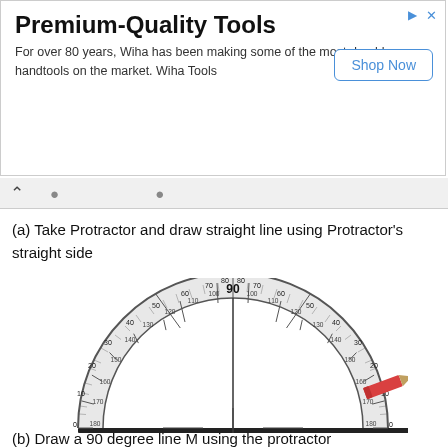[Figure (infographic): Advertisement banner for Premium-Quality Tools by Wiha with Shop Now button]
(a) Take Protractor and draw straight line using Protractor's straight side
[Figure (illustration): A semicircular protractor showing degree markings from 0 to 180, with a vertical line at 90 degrees and a red pencil to the right, placed on a straight baseline.]
(b) Draw a 90 degree line M using the protractor